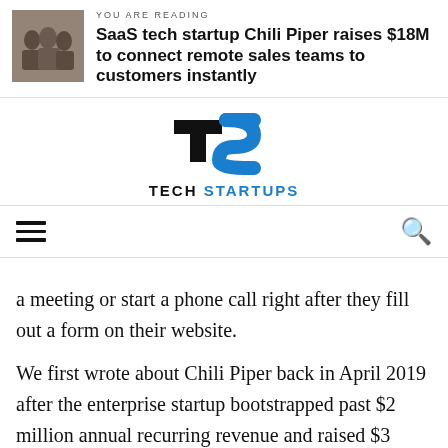YOU ARE READING
SaaS tech startup Chili Piper raises $18M to connect remote sales teams to customers instantly
[Figure (logo): Tech Startups logo with TS monogram in black and blue]
a meeting or start a phone call right after they fill out a form on their website.
We first wrote about Chili Piper back in April 2019 after the enterprise startup bootstrapped past $2 million annual recurring revenue and raised $3 million seed round led by Flashpoint Venture Capital. The startup has experienced accelerated